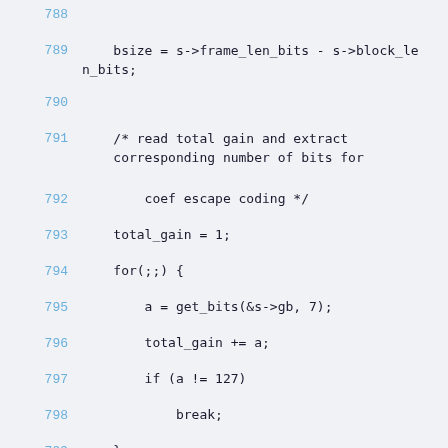788
789     bsize = s->frame_len_bits - s->block_len_bits;
790
791         /* read total gain and extract corresponding number of bits for
792              coef escape coding */
793     total_gain = 1;
794     for(;;) {
795         a = get_bits(&s->gb, 7);
796         total_gain += a;
797         if (a != 127)
798             break;
799     }
800
801     if (total_gain < 15)
802